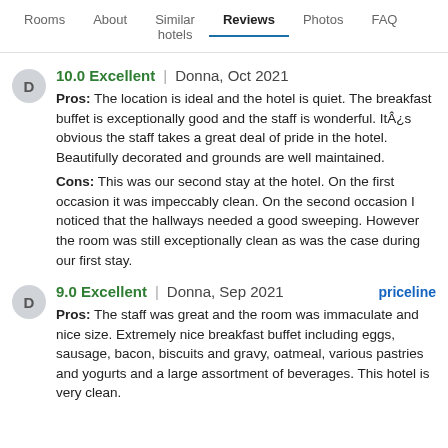Rooms | About | Similar hotels | Reviews | Photos | FAQ
10.0 Excellent | Donna, Oct 2021
Pros: The location is ideal and the hotel is quiet. The breakfast buffet is exceptionally good and the staff is wonderful. ItÂ¿s obvious the staff takes a great deal of pride in the hotel. Beautifully decorated and grounds are well maintained.
Cons: This was our second stay at the hotel. On the first occasion it was impeccably clean. On the second occasion I noticed that the hallways needed a good sweeping. However the room was still exceptionally clean as was the case during our first stay.
9.0 Excellent | Donna, Sep 2021 | priceline
Pros: The staff was great and the room was immaculate and nice size. Extremely nice breakfast buffet including eggs, sausage, bacon, biscuits and gravy, oatmeal, various pastries and yogurts and a large assortment of beverages. This hotel is very clean.